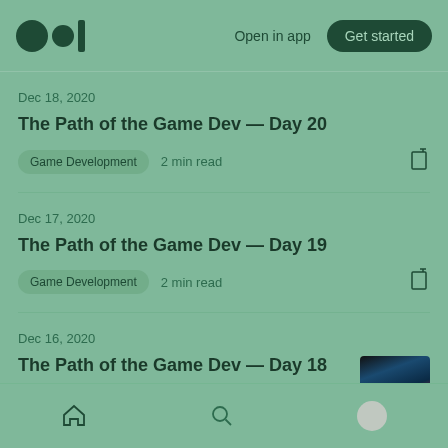Medium logo | Open in app | Get started
Dec 18, 2020
The Path of the Game Dev — Day 20
Game Development  2 min read
Dec 17, 2020
The Path of the Game Dev — Day 19
Game Development  2 min read
Dec 16, 2020
The Path of the Game Dev — Day 18
[Figure (photo): Thumbnail image for Day 18 article showing dark scene with blue and red tones]
Home | Search | Profile